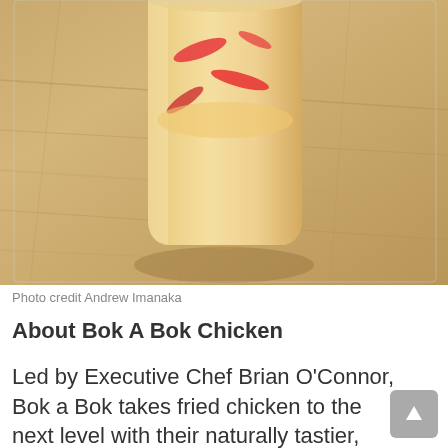[Figure (photo): A drink cup with orange/cream colored liquid and red pepper slices inside, placed on a wooden table surface. Photo taken from above at slight angle.]
Photo credit Andrew Imanaka
About Bok A Bok Chicken
Led by Executive Chef Brian O'Connor, Bok a Bok takes fried chicken to the next level with their naturally tastier, free range chicken fried in a super